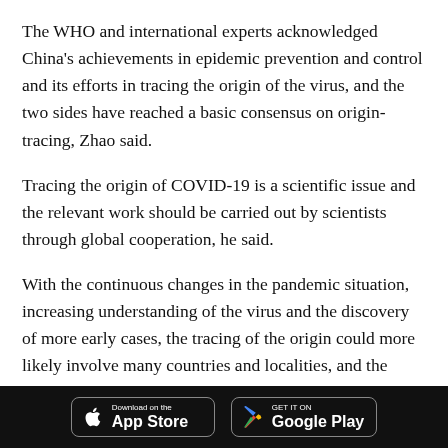The WHO and international experts acknowledged China's achievements in epidemic prevention and control and its efforts in tracing the origin of the virus, and the two sides have reached a basic consensus on origin-tracing, Zhao said.
Tracing the origin of COVID-19 is a scientific issue and the relevant work should be carried out by scientists through global cooperation, he said.
With the continuous changes in the pandemic situation, increasing understanding of the virus and the discovery of more early cases, the tracing of the origin could more likely involve many countries and localities, and the WHO will conduct similar research in other countries and regions if necessary, Zhao added.
[Figure (other): App store download buttons: Download on the App Store (Apple) and Get it on Google Play, on a black footer bar.]